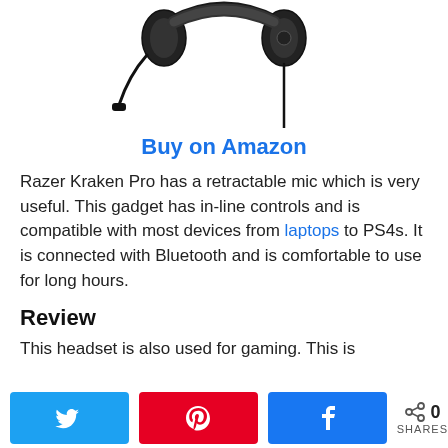[Figure (photo): Partial view of a Razer Kraken Pro gaming headset with retractable microphone arm, black color, shown from below/side angle against white background]
Buy on Amazon
Razer Kraken Pro has a retractable mic which is very useful. This gadget has in-line controls and is compatible with most devices from laptops to PS4s. It is connected with Bluetooth and is comfortable to use for long hours.
Review
This headset is also used for gaming. This is
[Figure (infographic): Social share bar with Twitter (blue), Pinterest (red), Facebook (dark blue) share buttons and a share count showing 0 SHARES]